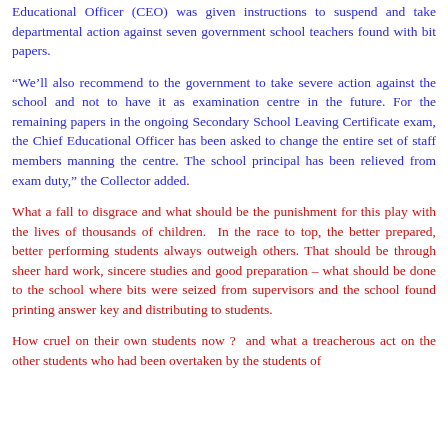Educational Officer (CEO) was given instructions to suspend and take departmental action against seven government school teachers found with bit papers.
“We’ll also recommend to the government to take severe action against the school and not to have it as examination centre in the future. For the remaining papers in the ongoing Secondary School Leaving Certificate exam, the Chief Educational Officer has been asked to change the entire set of staff members manning the centre. The school principal has been relieved from exam duty,” the Collector added.
What a fall to disgrace and what should be the punishment for this play with the lives of thousands of children.  In the race to top, the better prepared, better performing students always outweigh others. That should be through sheer hard work, sincere studies and good preparation – what should be done to the school where bits were seized from supervisors and the school found printing answer key and distributing to students.
How cruel on their own students now ?  and what a treacherous act on the other students who had been overtaken by the students of